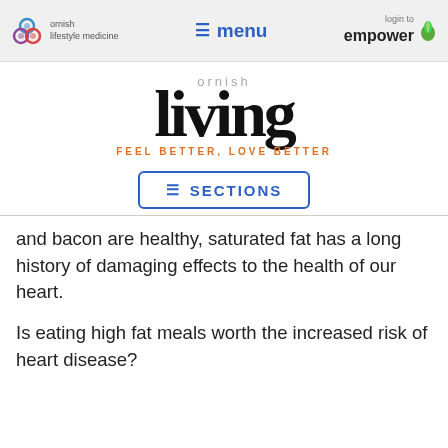ornish lifestyle medicine | menu | login to empower
[Figure (logo): Ornish Living logo with tagline FEEL BETTER, LOVE BETTER]
[Figure (other): SECTIONS navigation button]
and bacon are healthy, saturated fat has a long history of damaging effects to the health of our heart.
Is eating high fat meals worth the increased risk of heart disease?